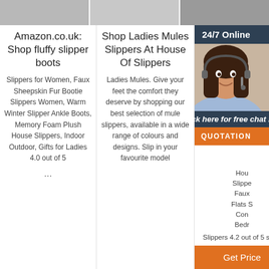[Figure (photo): Top row of three product images showing slippers/shoes, cropped at the top]
Amazon.co.uk: Shop fluffy slipper boots
Slippers for Women, Faux Sheepskin Fur Bootie Slippers Women, Warm Winter Slipper Ankle Boots, Memory Foam Plush House Slippers, Indoor Outdoor, Gifts for Ladies 4.0 out of 5 ...
Shop Ladies Mules Slippers At House Of Slippers
Ladies Mules. Give your feet the comfort they deserve by shopping our best selection of mule slippers, available in a wide range of colours and designs. Slip in your favourite model
Womens Slippers
Top Womens Band Hou Slippe Faux Flats S Con Bedr Slippers 4.2 out of 5 stars 1,804 $20.63 $ 20 . 63 - ...
[Figure (screenshot): Chat widget overlay showing 24/7 Online support with agent photo and Click here for free chat! and QUOTATION button]
[Figure (other): Get Price orange button at bottom right]